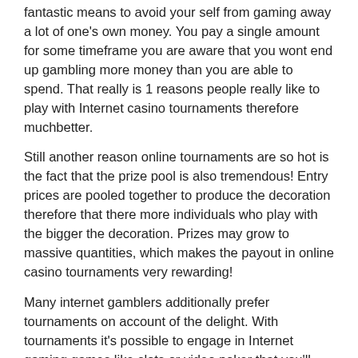fantastic means to avoid your self from gaming away a lot of one's own money. You pay a single amount for some timeframe you are aware that you wont end up gambling more money than you are able to spend. That really is 1 reasons people really like to play with Internet casino tournaments therefore muchbetter.
Still another reason online tournaments are so hot is the fact that the prize pool is also tremendous! Entry prices are pooled together to produce the decoration therefore that there more individuals who play with the bigger the decoration. Prizes may grow to massive quantities, which makes the payout in online casino tournaments very rewarding!
Many internet gamblers additionally prefer tournaments on account of the delight. With tournaments it's possible to engage in Internet gaming games like slots or video poker that you'll ordinarily play with your self, but also make it in to a social adventure. During the time you're playing from the championship you've got the opportunity to speak to other players from all over the world. In addition, the enthusiasm is raised on account of your rivalry. In tournaments you're not merely competing with your self contrary to the system to acquire cash, but you're also competing against others and that may increase the pleasure and excitement of this match by leaps and bounds!
If you want to know more about betting on the web in online casino tournaments then it's simple to begin. All you need to do is locate a casino on the web that provides games, download their internet casino